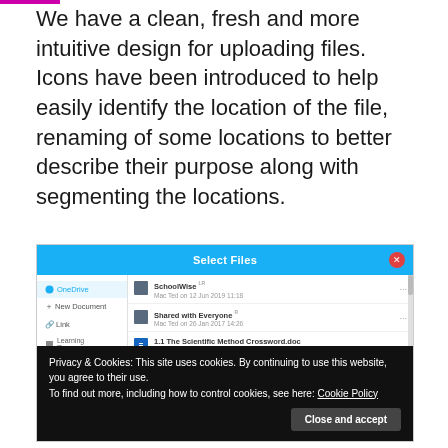We have a clean, fresh and more intuitive design for uploading files. Icons have been introduced to help easily identify the location of the file, renaming of some locations to better describe their purpose along with segmenting the locations.
[Figure (screenshot): Screenshot of a 'Select Files' dialog with a blue header bar showing 'Select Files' title and a red close button. Left sidebar shows: OneDrive (active/highlighted), + New Document, Link, Learning Resources. Right content area shows file rows: SchoolWise folder, Shared with Everyone folder, 1.1 The Scientific Method Crossword.doc, 1.9 your Maths Test.docx. A cookie privacy banner overlays the bottom portion showing: 'Privacy & Cookies: This site uses cookies. By continuing to use this website, you agree to their use. To find out more, including how to control cookies, see here: Cookie Policy' with a 'Close and accept' button.]